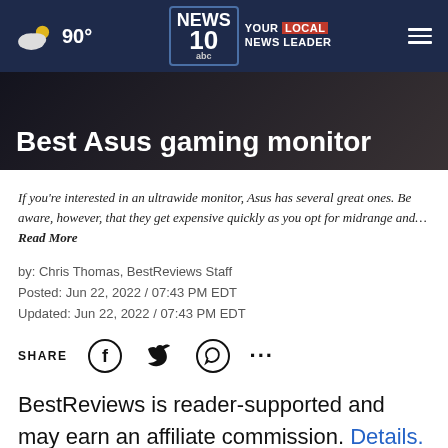90° | NEWS 10 abc YOUR LOCAL NEWS LEADER
Best Asus gaming monitor
If you're interested in an ultrawide monitor, Asus has several great ones. Be aware, however, that they get expensive quickly as you opt for midrange and… Read More
by: Chris Thomas, BestReviews Staff
Posted: Jun 22, 2022 / 07:43 PM EDT
Updated: Jun 22, 2022 / 07:43 PM EDT
SHARE
BestReviews is reader-supported and may earn an affiliate commission. Details.